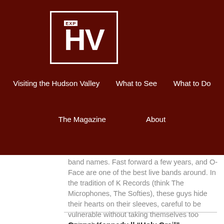[Figure (logo): EXP HV logo — white outlined rectangle on dark red background with 'EXP' small above large 'HV' letters]
Visiting the Hudson Valley   What to See   What to Do   The Magazine   About
band names. Fast forward a few years, and O-Face are one of the best live bands around. In the tradition of K Records (think The Microphones, The Softies), these guys hide their hearts on their sleeves, careful to be vulnerable without taking themselves too seriously.
Connor Kennedy || “Holy Grail” (Woodstock)